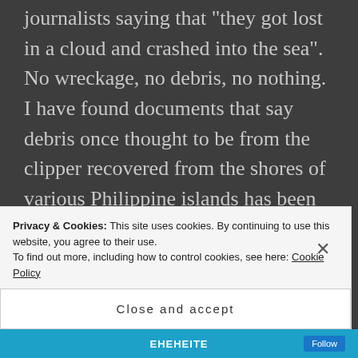journalists saying that "they got lost in a cloud and crashed into the sea". No wreckage, no debris, no nothing. I have found documents that say debris once thought to be from the clipper recovered from the shores of various Philippine islands has been proven not to be from a flying boat. So where does that leave us? To me, Malaysia Airlines flight MH370 is what some folks will point to as saying even in modern times a huge
Privacy & Cookies: This site uses cookies. By continuing to use this website, you agree to their use. To find out more, including how to control cookies, see here: Cookie Policy
Close and accept